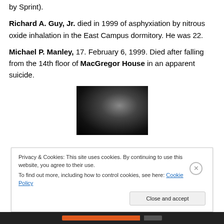by Sprint).
Richard A. Guy, Jr. died in 1999 of asphyxiation by nitrous oxide inhalation in the East Campus dormitory. He was 22.
Michael P. Manley, 17. February 6, 1999. Died after falling from the 14th floor of MacGregor House in an apparent suicide.
[Figure (photo): Black and white portrait photo, partially visible, dark background with a person's head/hair visible]
Privacy & Cookies: This site uses cookies. By continuing to use this website, you agree to their use.
To find out more, including how to control cookies, see here: Cookie Policy